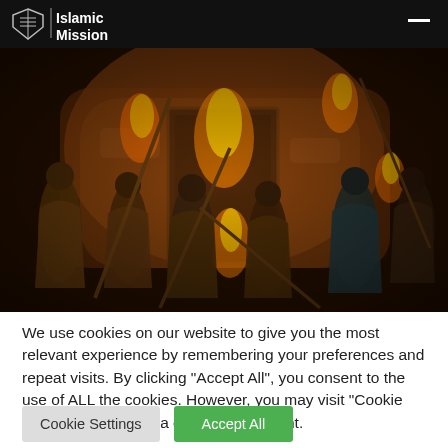Islamic Mission
[Figure (photo): People in robes holding flaming torches in front of a stone doorway in a dark, dramatic scene]
We use cookies on our website to give you the most relevant experience by remembering your preferences and repeat visits. By clicking "Accept All", you consent to the use of ALL the cookies. However, you may visit "Cookie Settings" to provide a controlled consent.
Cookie Settings | Accept All